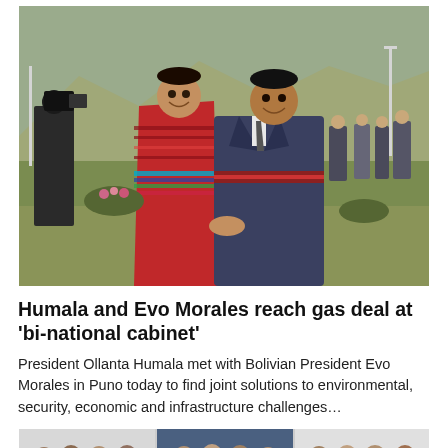[Figure (photo): Two men smiling and greeting each other outdoors. One wears a red and multicolored traditional Andean poncho, the other wears a dark suit with a decorative sash. Others stand in the background near mountains and a road.]
Humala and Evo Morales reach gas deal at 'bi-national cabinet'
President Ollanta Humala met with Bolivian President Evo Morales in Puno today to find joint solutions to environmental, security, economic and infrastructure challenges...
[Figure (photo): Group of men in formal attire standing together, photo divided into three panels side by side.]